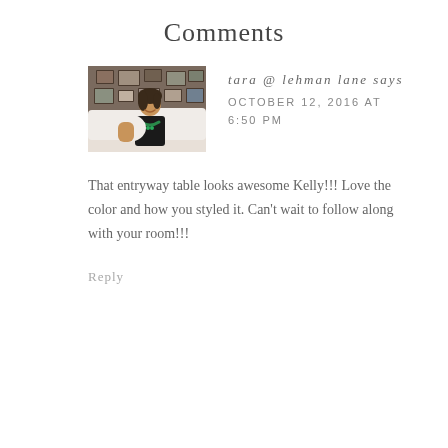Comments
[Figure (photo): Profile photo of a woman sitting on a couch, smiling, wearing a black top and green necklace, with framed pictures on the wall behind her.]
tara @ lehman lane says
OCTOBER 12, 2016 AT 6:50 PM
That entryway table looks awesome Kelly!!! Love the color and how you styled it. Can't wait to follow along with your room!!!
Reply